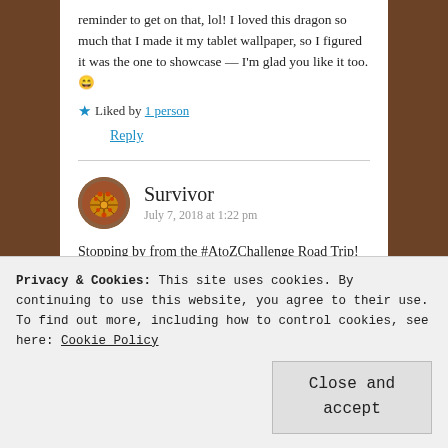reminder to get on that, lol! I loved this dragon so much that I made it my tablet wallpaper, so I figured it was the one to showcase — I'm glad you like it too. 😄
★ Liked by 1 person
Reply
Survivor  July 7, 2018 at 1:22 pm
Stopping by from the #AtoZChallenge Road Trip! What a gorgeous piece! Thanks for sharing!
Privacy & Cookies: This site uses cookies. By continuing to use this website, you agree to their use.
To find out more, including how to control cookies, see here: Cookie Policy
Close and accept